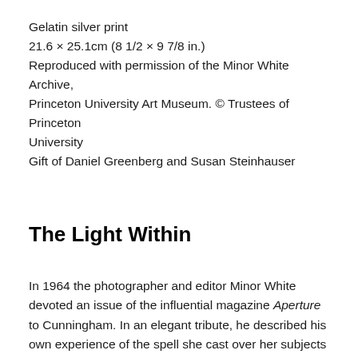Gelatin silver print
21.6 × 25.1cm (8 1/2 × 9 7/8 in.)
Reproduced with permission of the Minor White Archive, Princeton University Art Museum. © Trustees of Princeton University
Gift of Daniel Greenberg and Susan Steinhauser
The Light Within
In 1964 the photographer and editor Minor White devoted an issue of the influential magazine Aperture to Cunningham. In an elegant tribute, he described his own experience of the spell she cast over her subjects as a